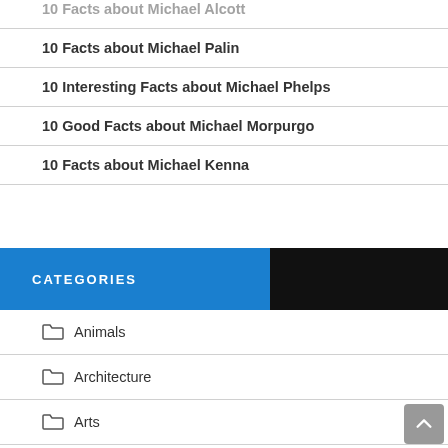10 Facts about Michael Alcott (partial, top-cropped)
10 Facts about Michael Palin
10 Interesting Facts about Michael Phelps
10 Good Facts about Michael Morpurgo
10 Facts about Michael Kenna
CATEGORIES
Animals
Architecture
Arts
Astronomy